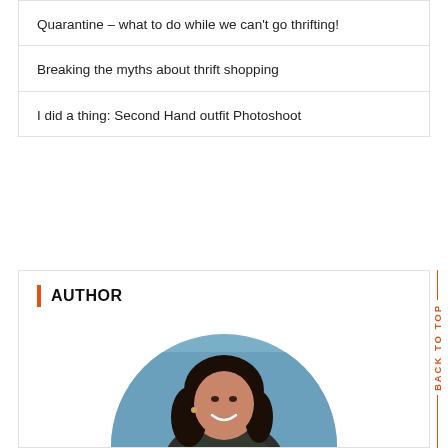Quarantine – what to do while we can't go thrifting!
Breaking the myths about thrift shopping
I did a thing: Second Hand outfit Photoshoot
AUTHOR
[Figure (photo): Circular portrait photo of a woman with long dark hair, smiling, photographed outdoors with a blue sky background.]